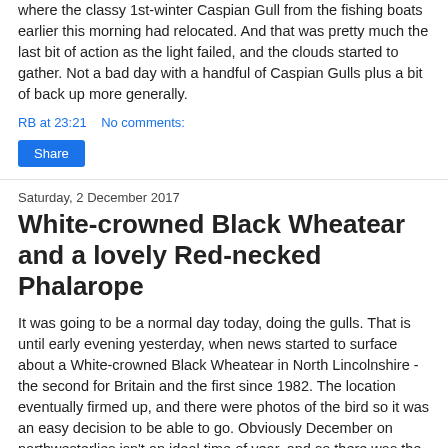where the classy 1st-winter Caspian Gull from the fishing boats earlier this morning had relocated. And that was pretty much the last bit of action as the light failed, and the clouds started to gather. Not a bad day with a handful of Caspian Gulls plus a bit of back up more generally.
RB at 23:21   No comments:
Share
Saturday, 2 December 2017
White-crowned Black Wheatear and a lovely Red-necked Phalarope
It was going to be a normal day today, doing the gulls. That is until early evening yesterday, when news started to surface about a White-crowned Black Wheatear in North Lincolnshire - the second for Britain and the first since 1982. The location eventually firmed up, and there were photos of the bird so it was an easy decision to be able to go. Obviously December on northwesterlies isn't an ideal time of year, and so there was the acknowledgement that it may not